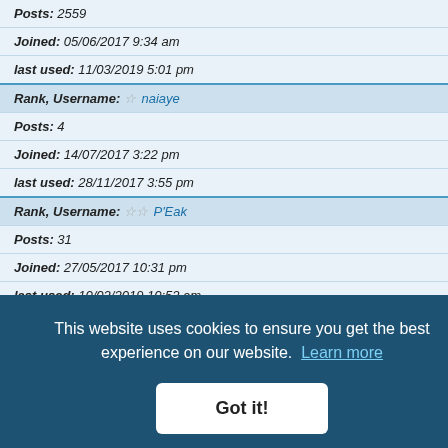Posts:  2559
Joined:  05/06/2017 9:34 am
last used:  11/03/2019 5:01 pm
Rank, Username:  ☆ naiaye
Posts:  4
Joined:  14/07/2017 3:22 pm
last used:  28/11/2017 3:55 pm
Rank, Username:  ☆☆ P'Eak
Posts:  31
Joined:  27/05/2017 10:31 pm
last used:  10/02/2019 10:52 am
Rank, Username:  ☆ willywelby
Posts: 2
Joined: 10/10/2017 12:00 pm
last used: 10/10/2017 12:59 pm
Rank, Username:  ☆☆☆ M031
Posts:  156
Joined: 30/11/2016 7:05 am
last used:  22/04/2016 3:58 pm
This website uses cookies to ensure you get the best experience on our website. Learn more
Got it!